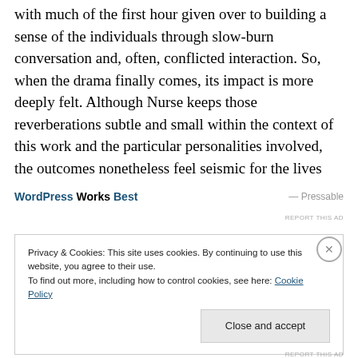with much of the first hour given over to building a sense of the individuals through slow-burn conversation and, often, conflicted interaction. So, when the drama finally comes, its impact is more deeply felt. Although Nurse keeps those reverberations subtle and small within the context of this work and the particular personalities involved, the outcomes nonetheless feel seismic for the lives depicted.
WordPress Works Best — Pressable REPORT THIS AD
Privacy & Cookies: This site uses cookies. By continuing to use this website, you agree to their use.
To find out more, including how to control cookies, see here: Cookie Policy
Close and accept
REPORT THIS AD